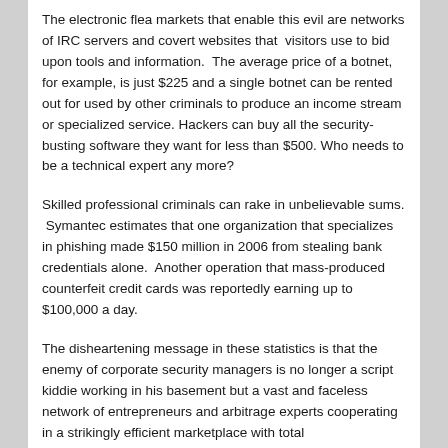The electronic flea markets that enable this evil are networks of IRC servers and covert websites that  visitors use to bid upon tools and information.  The average price of a botnet, for example, is just $225 and a single botnet can be rented out for used by other criminals to produce an income stream or specialized service. Hackers can buy all the security-busting software they want for less than $500. Who needs to be a technical expert any more?
Skilled professional criminals can rake in unbelievable sums.  Symantec estimates that one organization that specializes in phishing made $150 million in 2006 from stealing bank credentials alone.  Another operation that mass-produced counterfeit credit cards was reportedly earning up to $100,000 a day.
The disheartening message in these statistics is that the enemy of corporate security managers is no longer a script kiddie working in his basement but a vast and faceless network of entrepreneurs and arbitrage experts cooperating in a strikingly efficient marketplace with total